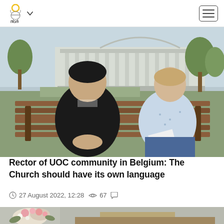UOC logo and navigation header
[Figure (photo): Two people sitting on a park bench having a conversation. One person wearing a black top, the other wearing a light blue patterned shirt and holding papers. Background shows a neoclassical building with columns and trees.]
Rector of UOC community in Belgium: The Church should have its own language
27 August 2022, 12:28  67
[Figure (photo): Partial view of a second article image showing flowers or floral arrangement, partially cropped at bottom of page.]